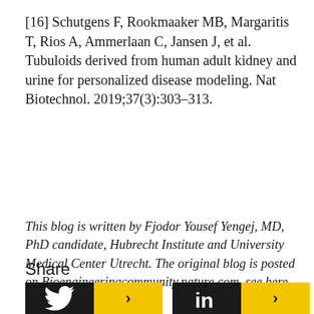[16] Schutgens F, Rookmaaker MB, Margaritis T, Rios A, Ammerlaan C, Jansen J, et al. Tubuloids derived from human adult kidney and urine for personalized disease modeling. Nat Biotechnol. 2019;37(3):303–313.
This blog is written by Fjodor Yousef Yengej, MD, PhD candidate, Hubrecht Institute and University Medical Center Utrecht. The original blog is posted on Bioengineeringcommunity.nature.com, see here.
Share
[Figure (infographic): Three social media share buttons: Twitter (black bird icon + yellow arrow), LinkedIn (black 'in' icon + yellow arrow), Facebook (black 'f' icon + yellow arrow)]